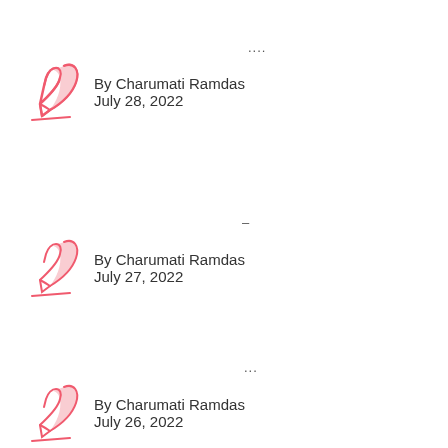....
By Charumati Ramdas
July 28, 2022
–
By Charumati Ramdas
July 27, 2022
...
By Charumati Ramdas
July 26, 2022
Popular Tags